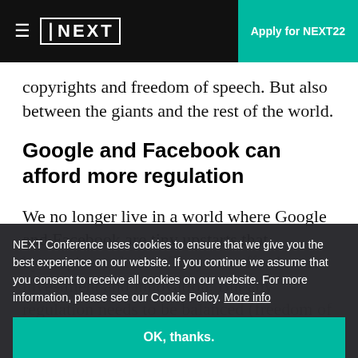≡ NEXT | Apply for NEXT22
copyrights and freedom of speech. But also between the giants and the rest of the world.
Google and Facebook can afford more regulation
We no longer live in a world where Google and Facebook are tiny upstarts that shouldn't be stifled by tough regulation. They can afford more regulation. But any regulation needs to be balanced (freedom of speech etc.) and leave smaller companies as...
NEXT Conference uses cookies to ensure that we give you the best experience on our website. If you continue we assume that you consent to receive all cookies on our website. For more information, please see our Cookie Policy. More info
OK, thanks.